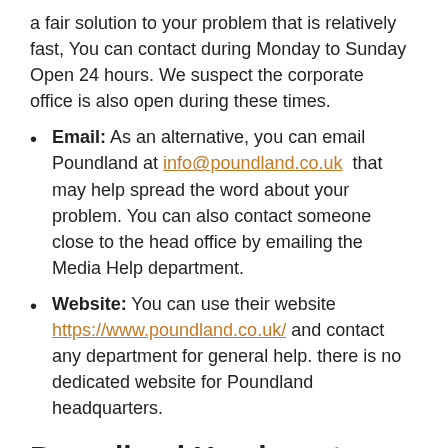a fair solution to your problem that is relatively fast, You can contact during Monday to Sunday Open 24 hours. We suspect the corporate office is also open during these times.
Email: As an alternative, you can email Poundland at info@poundland.co.uk that may help spread the word about your problem. You can also contact someone close to the head office by emailing the Media Help department.
Website: You can use their website https://www.poundland.co.uk/ and contact any department for general help. there is no dedicated website for Poundland headquarters.
Poundland Headquarters Executive Team